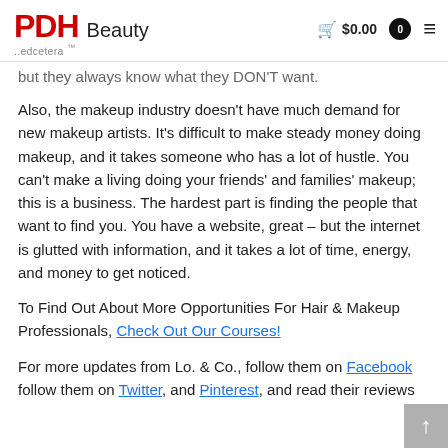PDH Beauty ..edcetera  🛒 $0.00  0  ≡
but they always know what they DON'T want.
Also, the makeup industry doesn't have much demand for new makeup artists. It's difficult to make steady money doing makeup, and it takes someone who has a lot of hustle. You can't make a living doing your friends' and families' makeup; this is a business. The hardest part is finding the people that want to find you. You have a website, great – but the internet is glutted with information, and it takes a lot of time, energy, and money to get noticed.
To Find Out About More Opportunities For Hair & Makeup Professionals, Check Out Our Courses!
For more updates from Lo. & Co., follow them on Facebook follow them on Twitter, and Pinterest, and read their reviews